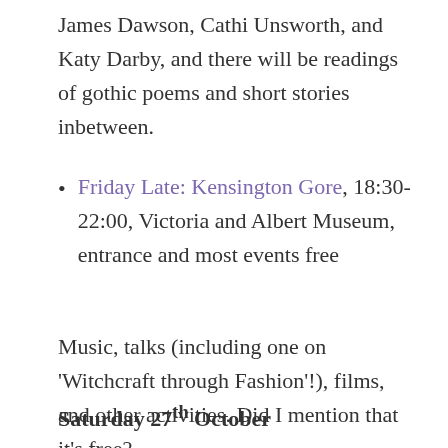James Dawson, Cathi Unsworth, and Katy Darby, and there will be readings of gothic poems and short stories inbetween.
Friday Late: Kensington Gore, 18:30-22:00, Victoria and Albert Museum, entrance and most events free
Music, talks (including one on ‘Witchcraft through Fashion’!), films, and other activities. Did I mention that it’s free?
Saturday 27th October